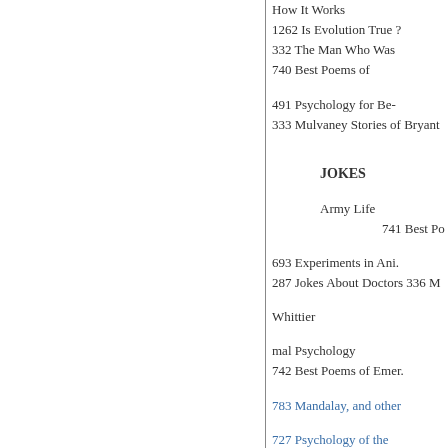How It Works
1262 Is Evolution True ?
332 The Man Who Was
740 Best Poems of
491 Psychology for Be-
333 Mulvaney Stories of Bryant
JOKES
Army Life
741 Best Po
693 Experiments in Ani.
287 Jokes About Doctors 336 M
Whittier
mal Psychology
742 Best Poems of Emer.
783 Mandalay, and other
727 Psychology of the
422 Best Yankee Jokes